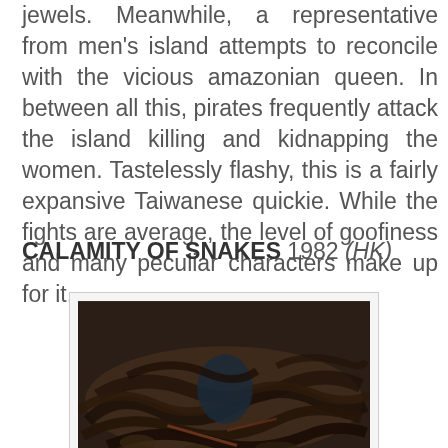jewels. Meanwhile, a representative from men's island attempts to reconcile with the vicious amazonian queen. In between all this, pirates frequently attack the island killing and kidnapping the women. Tastelessly flashy, this is a fairly expansive Taiwanese quickie. While the fights are average, the level of goofiness and many peculiar characters make up for it.
CALAMITY OF SNAKES 1982 (HK)
[Figure (photo): A dark photograph showing a mass of snakes covering the frame, with what appears to be a person partially visible among them.]